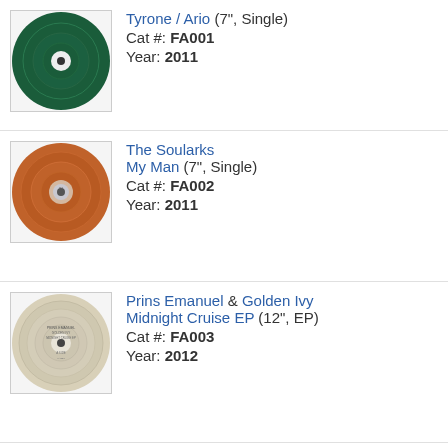Tyrone / Ario (7", Single) Cat #: FA001 Year: 2011
The Soularks My Man (7", Single) Cat #: FA002 Year: 2011
Prins Emanuel & Golden Ivy Midnight Cruise EP (12", EP) Cat #: FA003 Year: 2012
Enjebeye Medicine Year: 2013 ◄ 2 versions
Nemas Problemas (2)